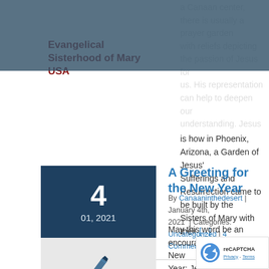Evangelical Sisterhood of Mary USA
a Canaan center, there is usually a prayer garden with reliefs depicting the passion of Jesus for us. His representation can help to deepen our understanding. Jesus longs for us to give Him all our love in response to His love and suffering. This is how in Phoenix, Arizona, a Garden of Jesus' Sufferings and Resurrection came to be built by the Sisters of Mary with their [...]
Read More
A Greeting for the New Year
By Canaaninthedesert | January 4th, 2021 | Categories: Uncategorized | 4 Comments
May this word be an encouragement for the New Year: Jesus wants to come to us. We live in a time of ever-growing darkness and chaos. Today countries are ravaged by a pandemic. But Jesus is the Light of the world. He is the Eternal Light. He is